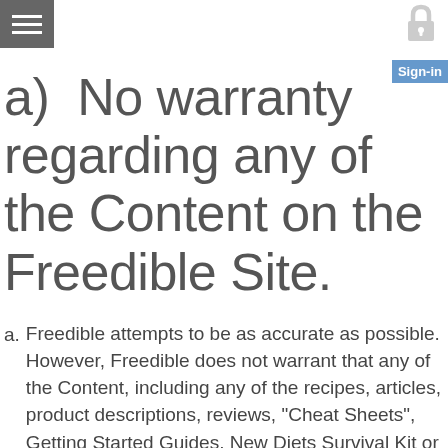a)  No warranty regarding any of the Content on the Freedible Site.
Freedible attempts to be as accurate as possible. However, Freedible does not warrant that any of the Content, including any of the recipes, articles, product descriptions, reviews, "Cheat Sheets", Getting Started Guides, New Diets Survival Kit or any other Content on any Freedible Service, whether authored or posted by Freedible, any employee, agent, director or other indemnity of Freeible or by a Member or other user, is accurate, complete, reliable, current, or error-free.
Freedible specifically discourages any liability for any errors...